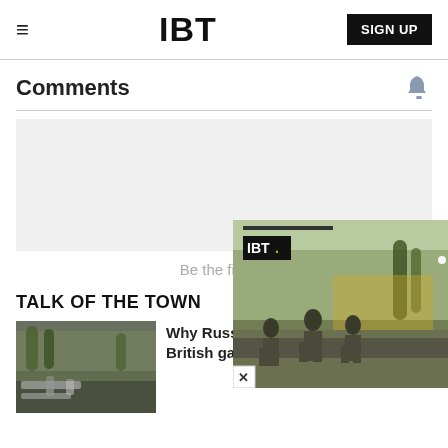IBT | SIGN UP
Comments
[Figure (other): Gray comment input box area]
Be the first to
TALK OF THE TOWN
[Figure (photo): Industrial gas pipes infrastructure photo]
Why Russia drives European and British gas prices
[Figure (photo): Popup overlay showing IBT logo and soldiers walking on a road, with close button]